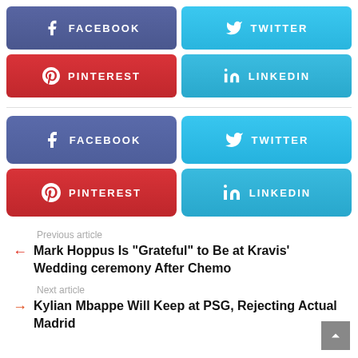[Figure (infographic): Social share buttons row 1: Facebook (blue-purple) and Twitter (light blue)]
[Figure (infographic): Social share buttons row 2: Pinterest (red) and LinkedIn (light blue)]
[Figure (infographic): Social share buttons second set row 1: Facebook (blue-purple) and Twitter (light blue)]
[Figure (infographic): Social share buttons second set row 2: Pinterest (red) and LinkedIn (light blue)]
Previous article
← Mark Hoppus Is “Grateful” to Be at Kravis’ Wedding ceremony After Chemo
Next article
→ Kylian Mbappe Will Keep at PSG, Rejecting Actual Madrid